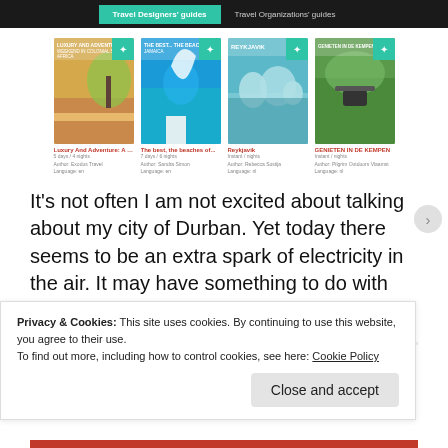Travel Designers' guides | Travel Organizations' guides
[Figure (screenshot): Four travel guide book covers shown as cards: 1) Luxury And Adventure in South Africa (palm tree/beach), 2) The best beaches of Jamaica (diver jumping), 3) Reykjavik (icebergs/lagoon), 4) GENIETEN IN DE KEMPEN (person camping). Each card shows title in red, author, and language info below.]
It's not often I am not excited about talking about my city of Durban. Yet today there seems to be an extra spark of electricity in the air. It may have something to do with the actual electricians who are currently drilling holes through...
Privacy & Cookies: This site uses cookies. By continuing to use this website, you agree to their use.
To find out more, including how to control cookies, see here: Cookie Policy
Close and accept